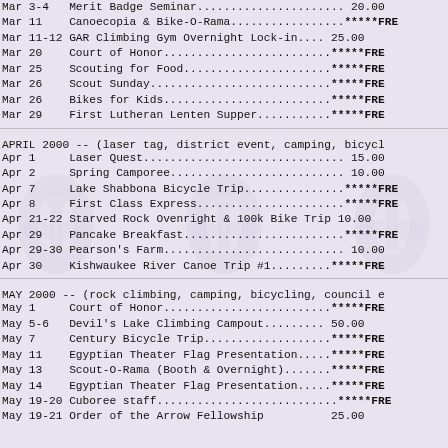Mar 3-4   Merit Badge Seminar......................... 20.00
Mar 11    Canoecopia & Bike-O-Rama....................*****FRE
Mar 11-12 GAR Climbing Gym Overnight Lock-in..... 25.00
Mar 20    Court of Honor............................*****FRE
Mar 25    Scouting for Food.........................*****FRE
Mar 26    Scout Sunday..............................*****FRE
Mar 26    Bikes for Kids............................*****FRE
Mar 29    First Lutheran Lenten Supper..............*****FRE
APRIL 2000 -- (laser tag, district event, camping, bicyc)
Apr 1     Laser Quest................................ 15.00
Apr 2     Spring Camporee............................ 10.00
Apr 7     Lake Shabbona Bicycle Trip.................*****FRE
Apr 8     First Class Express........................*****FRE
Apr 21-22 Starved Rock Overnright & 100k Bike Trip 10.00
Apr 29    Pancake Breakfast..........................*****FRE
Apr 29-30 Pearson's Farm............................. 10.00
Apr 30    Kishwaukee River Canoe Trip #1.............*****FRE
MAY 2000 -- (rock climbing, camping, bicycling, council e)
May 1     Court of Honor............................*****FRE
May 5-6   Devil's Lake Climbing Campout........... 50.00
May 7     Century Bicycle Trip.......................*****FRE
May 11    Egyptian Theater Flag Presentation.......*****FRE
May 13    Scout-O-Rama (Booth & Overnight).........*****FRE
May 14    Egyptian Theater Flag Presentation.......*****FRE
May 19-20 Cuboree staff.............................*****FRE
May 19-21 Order of the Arrow Fellowship          25.00